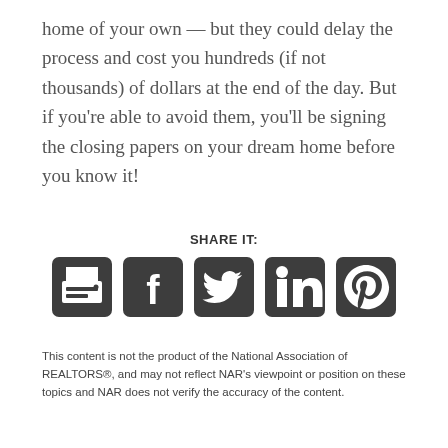home of your own — but they could delay the process and cost you hundreds (if not thousands) of dollars at the end of the day. But if you're able to avoid them, you'll be signing the closing papers on your dream home before you know it!
SHARE IT:
[Figure (other): Social sharing icons: print, Facebook, Twitter, LinkedIn, Pinterest]
This content is not the product of the National Association of REALTORS®, and may not reflect NAR's viewpoint or position on these topics and NAR does not verify the accuracy of the content.